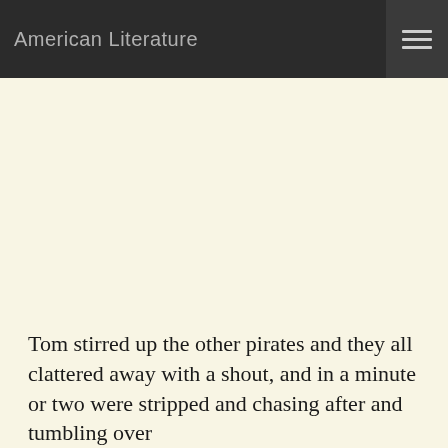American Literature
Tom stirred up the other pirates and they all clattered away with a shout, and in a minute or two were stripped and chasing after and tumbling over